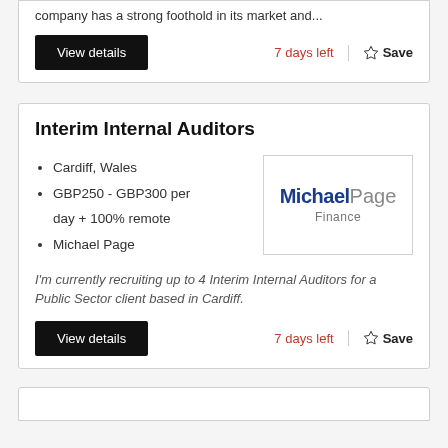company has a strong foothold in its market and...
View details
7 days left
Save
Interim Internal Auditors
Cardiff, Wales
GBP250 - GBP300 per day + 100% remote
Michael Page
[Figure (logo): Michael Page Finance logo]
I'm currently recruiting up to 4 Interim Internal Auditors for a Public Sector client based in Cardiff.
View details
7 days left
Save